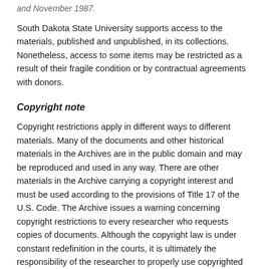and November 1987.
South Dakota State University supports access to the materials, published and unpublished, in its collections. Nonetheless, access to some items may be restricted as a result of their fragile condition or by contractual agreements with donors.
Copyright note
Copyright restrictions apply in different ways to different materials. Many of the documents and other historical materials in the Archives are in the public domain and may be reproduced and used in any way. There are other materials in the Archive carrying a copyright interest and must be used according to the provisions of Title 17 of the U.S. Code. The Archive issues a warning concerning copyright restrictions to every researcher who requests copies of documents. Although the copyright law is under constant redefinition in the courts, it is ultimately the responsibility of the researcher to properly use copyrighted material.